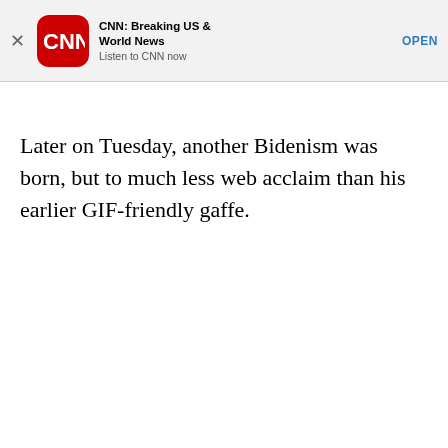[Figure (screenshot): App store banner ad for CNN: Breaking US & World News app with CNN logo, close button, app title, subtitle 'Listen to CNN now', and OPEN button]
Later on Tuesday, another Bidenism was born, but to much less web acclaim than his earlier GIF-friendly gaffe.